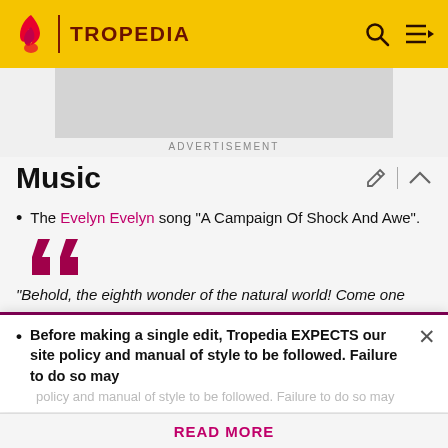TROPEDIA
[Figure (screenshot): Advertisement placeholder area (gray rectangle)]
ADVERTISEMENT
Music
The Evelyn Evelyn song "A Campaign Of Shock And Awe".
"Behold, the eighth wonder of the natural world! Come one and come all, see the two-headed girl. Stupendous!
Before making a single edit, Tropedia EXPECTS our site policy and manual of style to be followed. Failure to do so may
READ MORE